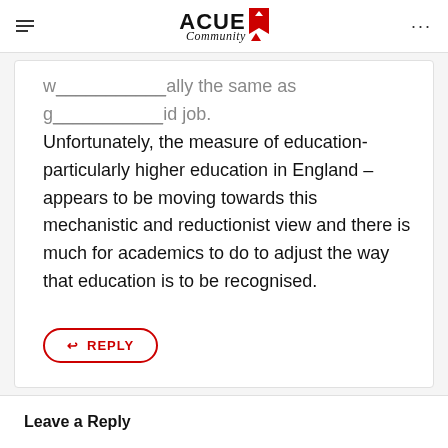ACUE Community
w...ally the same as g...id job. Unfortunately, the measure of education- particularly higher education in England – appears to be moving towards this mechanistic and reductionist view and there is much for academics to do to adjust the way that education is to be recognised.
REPLY
Leave a Reply